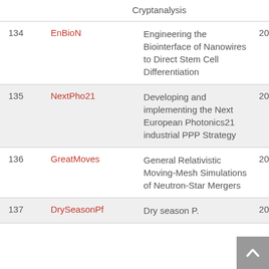| # | Acronym | Title | Year |
| --- | --- | --- | --- |
|  |  | Cryptanalysis |  |
| 134 | EnBioN | Engineering the Biointerface of Nanowires to Direct Stem Cell Differentiation | 20 |
| 135 | NextPho21 | Developing and implementing the Next European Photonics21 industrial PPP Strategy | 20 |
| 136 | GreatMoves | General Relativistic Moving-Mesh Simulations of Neutron-Star Mergers | 20 |
| 137 | DrySeasonPf | Dry season P. | 20 |